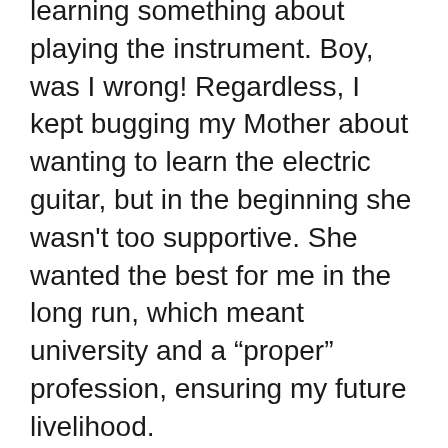learning something about playing the instrument. Boy, was I wrong! Regardless, I kept bugging my Mother about wanting to learn the electric guitar, but in the beginning she wasn't too supportive. She wanted the best for me in the long run, which meant university and a "proper" profession, ensuring my future livelihood.
Obviously, playing guitar wasn't on the list of approved professions... Besides, most people over here (and I am sure that this is true in every corner of the globe) are convinced that in order to be a musician, you have to be the direct descendant of Mozart or Liszt, be born with perfect pitch, and have 5 symphonies composed by the time you utter your first